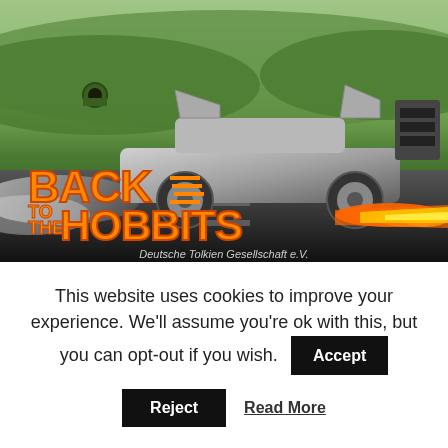[Figure (photo): Promotional image showing a DeLorean car (Back to the Future style) on a road with flames behind it, set against a green hillside with hobbit holes. Text overlay reads 'BACK TO THE HOBBITS' in Back to the Future style lettering. Bottom reads 'Deutsche Tolkien Gesellschaft e.V.']
This website uses cookies to improve your experience. We'll assume you're ok with this, but you can opt-out if you wish.
Accept
Reject
Read More